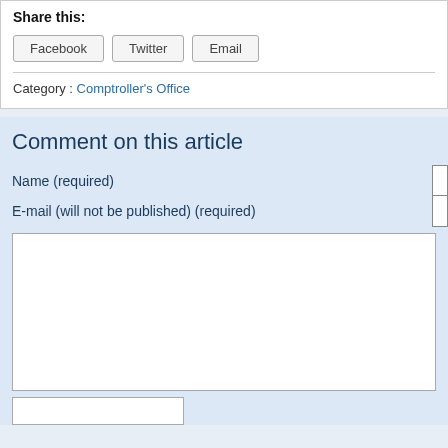Share this:
Facebook  Twitter  Email
Category : Comptroller's Office
Comment on this article
Name (required)
E-mail (will not be published) (required)